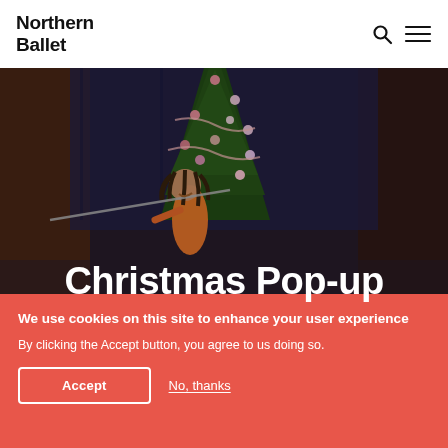Northern Ballet
[Figure (photo): Stage performance photo showing a dancer holding a sword, with a decorated Christmas tree in the background against a dark blue stage setting]
Christmas Pop-up
We use cookies on this site to enhance your user experience
By clicking the Accept button, you agree to us doing so.
Accept
No, thanks